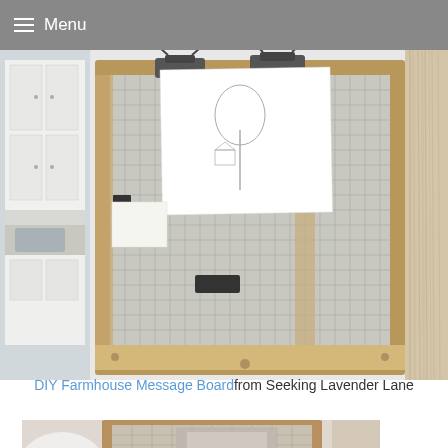Menu
[Figure (photo): DIY Farmhouse Message Board made from reclaimed wood with metal binder clips and fabric/mesh backing, displayed on a white wall. Left side shows kitchen with white cabinets.]
DIY Farmhouse Message Board from Seeking Lavender Lane
[Figure (photo): Partial view of another farmhouse-style framed board with grid/chicken wire, showing bedroom setting with white pillow.]